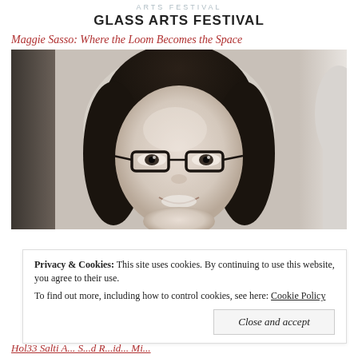ARTS FESTIVAL
GLASS ARTS FESTIVAL
Maggie Sasso: Where the Loom Becomes the Space
[Figure (photo): Black and white portrait photo of a young woman with dark hair and black-framed glasses, smiling, taken indoors]
Privacy & Cookies: This site uses cookies. By continuing to use this website, you agree to their use.
To find out more, including how to control cookies, see here: Cookie Policy
Close and accept
Hol33 Salti A... S...d R...id... Mi...